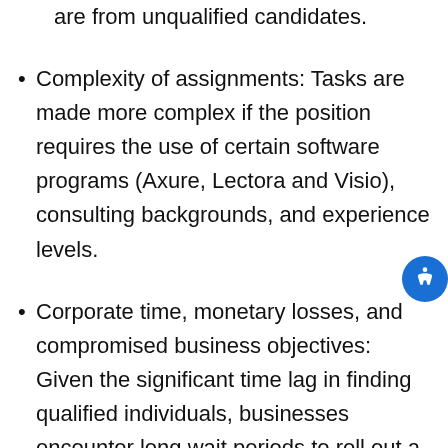are from unqualified candidates.
Complexity of assignments: Tasks are made more complex if the position requires the use of certain software programs (Axure, Lectora and Visio), consulting backgrounds, and experience levels.
Corporate time, monetary losses, and compromised business objectives: Given the significant time lag in finding qualified individuals, businesses encounter long wait periods to roll out a product/service, causing strain on existing staff who must handle increased workloads, as well as lost